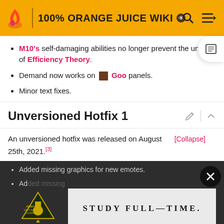100% ORANGE JUICE WIKI
M10's self-damaging abilities no longer prevent the unlock of Efficiency Theory.
Demand now works on [Goo] Goo panels.
Minor text fixes.
Unversioned Hotfix 1
An unversioned hotfix was released on August 25th, 2021.[3]
Added missing graphics for new emotes.
Added ... achievements.
[Figure (screenshot): Army National Guard advertisement banner with text STUDY FULL-TIME.]
Unversioned Hotfix 2